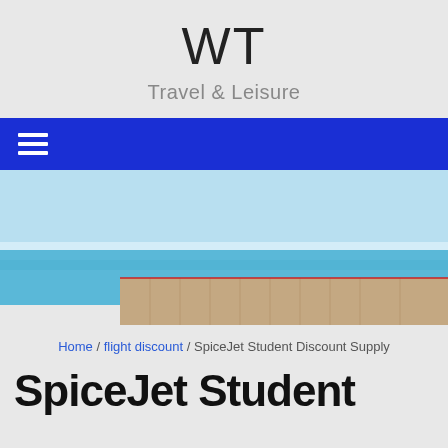WT
Travel & Leisure
[Figure (screenshot): Blue navigation bar with hamburger menu icon on the left]
[Figure (photo): Family with luggage walking on a pier over turquoise tropical ocean water]
Home / flight discount / SpiceJet Student Discount Supply
SpiceJet Student